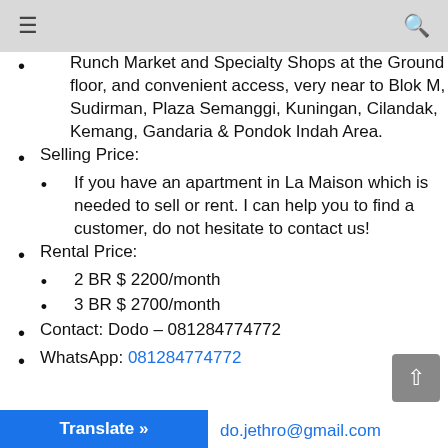≡   🔍
Runch Market and Specialty Shops at the Ground floor, and convenient access, very near to Blok M, Sudirman, Plaza Semanggi, Kuningan, Cilandak, Kemang, Gandaria & Pondok Indah Area.
Selling Price:
If you have an apartment in La Maison which is needed to sell or rent. I can help you to find a customer, do not hesitate to contact us!
Rental Price:
2 BR $ 2200/month
3 BR $ 2700/month
Contact: Dodo – 081284774772
WhatsApp: 081284774772
do.jethro@gmail.com